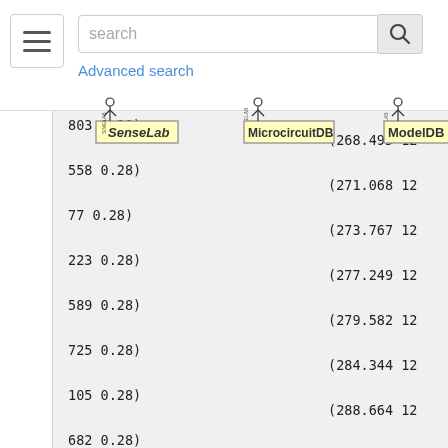[Figure (screenshot): Website navigation bar with hamburger menu, search box with 'search' placeholder, 'Advanced search' link, and three logos: SenseLab, MicrocircuitDB, ModelDB]
803 0.28)
558 0.28)
77 0.28)
223 0.28)
589 0.28)
725 0.28)
105 0.28)
682 0.28)
416 0.28)
695 0.28)
(268.495 12
(271.068 12
(273.767 12
(277.249 12
(279.582 12
(284.344 12
(288.664 12
(292.392 12
(293.456 12